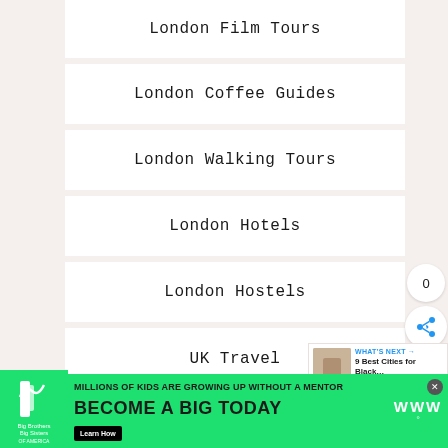London Film Tours
London Coffee Guides
London Walking Tours
London Hotels
London Hostels
UK Travel
Europe Travel
Solo Travel